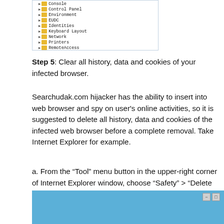[Figure (screenshot): Windows Registry Editor tree view showing folders: Console, Control Panel, Environment, EUDC, Identities, Keyboard Layout, Network, Printers, RemoteAccess, Software, System with CurrentControlSet expanded]
Step 5: Clear all history, data and cookies of your infected browser.
Searchudak.com hijacker has the ability to insert into web browser and spy on user's online activities, so it is suggested to delete all history, data and cookies of the infected web browser before a complete removal. Take Internet Explorer for example.
a. From the “Tool” menu button in the upper-right corner of Internet Explorer window, choose “Safety” > “Delete browsing history…”.
[Figure (screenshot): Bottom portion of Internet Explorer browser window with blue background and minimize/close controls visible in top right]